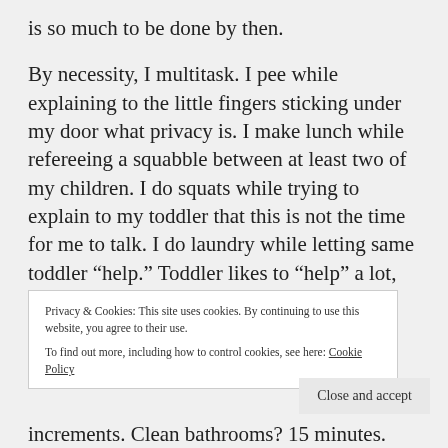is so much to be done by then.
By necessity, I multitask. I pee while explaining to the little fingers sticking under my door what privacy is. I make lunch while refereeing a squabble between at least two of my children. I do squats while trying to explain to my toddler that this is not the time for me to talk. I do laundry while letting same toddler “help.” Toddler likes to “help” a lot, which is why I get
Privacy & Cookies: This site uses cookies. By continuing to use this website, you agree to their use.
To find out more, including how to control cookies, see here: Cookie Policy
increments. Clean bathrooms? 15 minutes.